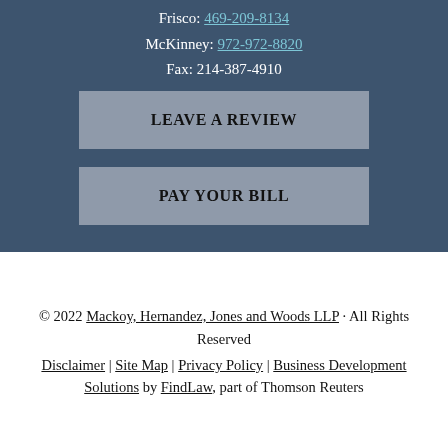Frisco: 469-209-8134
McKinney: 972-972-8820
Fax: 214-387-4910
LEAVE A REVIEW
PAY YOUR BILL
© 2022 Mackoy, Hernandez, Jones and Woods LLP · All Rights Reserved
Disclaimer | Site Map | Privacy Policy | Business Development Solutions by FindLaw, part of Thomson Reuters